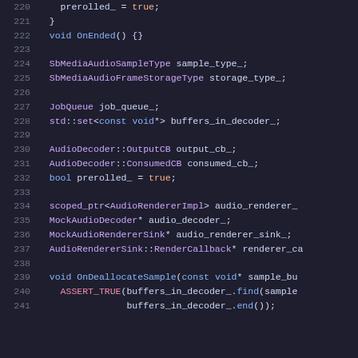[Figure (screenshot): Source code listing showing C++ class member declarations and method definitions, lines 220-241, with syntax highlighting on dark background. Lines include prerolled_ = true, closing brace, OnEnded(), SbMediaAudioSampleType, SbMediaAudioFrameStorageType, JobQueue, std::set buffers_in_decoder_, AudioDecoder::OutputCB, AudioDecoder::ConsumedCB, bool prerolled_, scoped_ptr, MockAudioDecoder, MockAudioRendererSink, AudioRendererSink::RenderCallback, OnDeallocateSample, ASSERT_TRUE calls.]